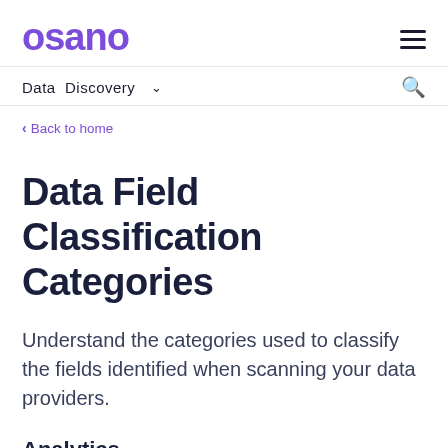osano
Data Discovery ▾
< Back to home
Data Field Classification Categories
Understand the categories used to classify the fields identified when scanning your data providers.
Analytics